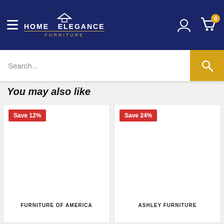[Figure (screenshot): Home Elegance Furniture website header with navy background, hamburger menu, logo, user icon, and cart icon showing 0 items]
[Figure (screenshot): Search bar with placeholder text 'Search...' and yellow search button]
You may also like
[Figure (screenshot): Product card with 'Save 12%' red badge and 'FURNITURE OF AMERICA' brand label]
[Figure (screenshot): Product card with 'Save 24%' red badge and 'ASHLEY FURNITURE' brand label]